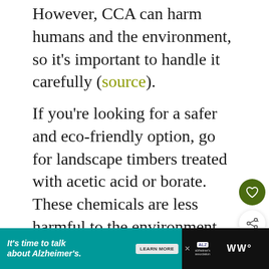However, CCA can harm humans and the environment, so it's important to handle it carefully (source).
If you're looking for a safer and eco-friendly option, go for landscape timbers treated with acetic acid or borate. These chemicals are less harmful to the environment and are still effective at preventing rot and protecting against insect damage.
[Figure (other): Dark olive green circular heart/like button icon]
[Figure (other): Share button (circle with share icon) floating on right side]
WHAT'S NEXT → Does Landscapin...
[Figure (other): Advertisement banner: It's time to talk about Alzheimer's. LEARN MORE. Alzheimer's Association logo.]